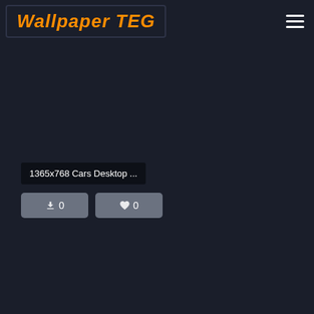Wallpaper TEG
1365x768 Cars Desktop ...
0 downloads, 0 likes